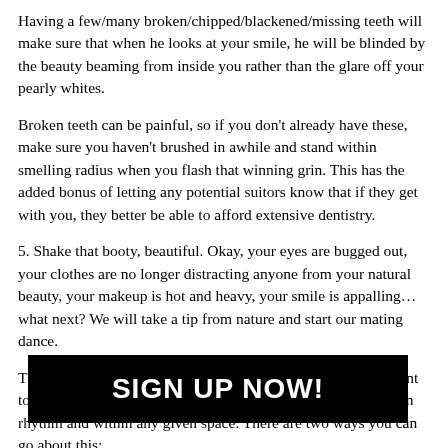Having a few/many broken/chipped/blackened/missing teeth will make sure that when he looks at your smile, he will be blinded by the beauty beaming from inside you rather than the glare off your pearly whites.
Broken teeth can be painful, so if you don't already have these, make sure you haven't brushed in awhile and stand within smelling radius when you flash that winning grin. This has the added bonus of letting any potential suitors know that if they get with you, they better be able to afford extensive dentistry.
5. Shake that booty, beautiful. Okay, your eyes are bugged out, your clothes are no longer distracting anyone from your natural beauty, your makeup is hot and heavy, your smile is appalling… what next? We will take a tip from nature and start our mating dance.
The important thing to remember about dancing is that you want to be noticed. Don't be one of those anonymous girls dancing in rhythm and within any given space. There are two ways you can go about this:
A                                                          g with wild ab                                                         notice you in the crowd, so try to stay a step ahead or behind the music (and the
[Figure (other): Black banner overlay with white bold text reading SIGN UP NOW!]